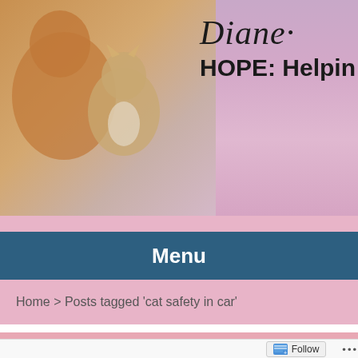[Figure (photo): Header banner with dogs and cats photo on left, purple/pink gradient background, with cursive 'Diane' text and bold 'HOPE: Helpin' text on right]
Menu
Home > Posts tagged 'cat safety in car'
CAT SAFETY IN CAR
Follow ...